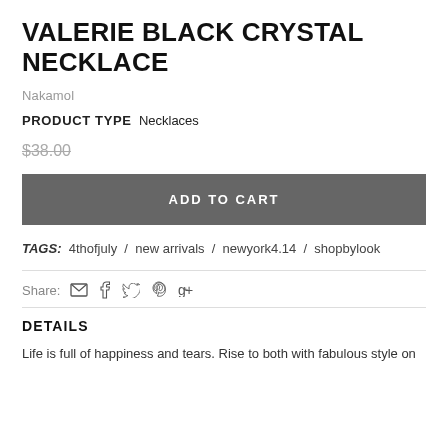VALERIE BLACK CRYSTAL NECKLACE
Nakamol
PRODUCT TYPE  Necklaces
$38.00
ADD TO CART
TAGS:  4thofjuly  /  new arrivals  /  newyork4.14  /  shopbylook
Share:
DETAILS
Life is full of happiness and tears. Rise to both with fabulous style on